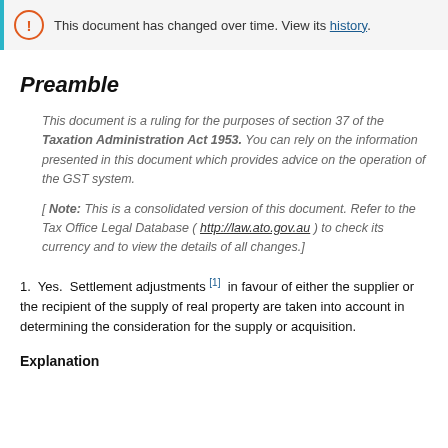This document has changed over time. View its history.
Preamble
This document is a ruling for the purposes of section 37 of the Taxation Administration Act 1953. You can rely on the information presented in this document which provides advice on the operation of the GST system.
[ Note: This is a consolidated version of this document. Refer to the Tax Office Legal Database ( http://law.ato.gov.au ) to check its currency and to view the details of all changes.]
1. Yes. Settlement adjustments [1] in favour of either the supplier or the recipient of the supply of real property are taken into account in determining the consideration for the supply or acquisition.
Explanation